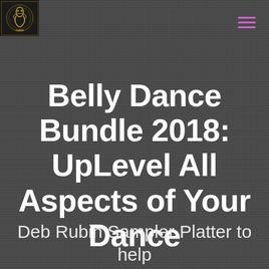[Logo: Deb Rubin site logo with snake/music symbol] [Hamburger menu icon]
Belly Dance Bundle 2018: UpLevel All Aspects of Your Dance
Deb Rubin Sampler Platter to help